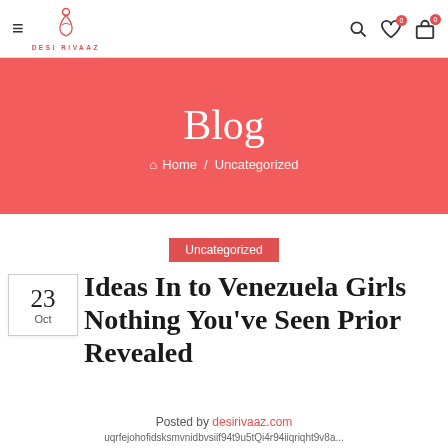≡  DESI RIVAAZ  [search] [wishlist 0] [cart 0]
Blog
⌂ Home / Uncategorized
Uncategorized
N 23 Oct Ideas In to Venezuela Girls Nothing You've Seen Prior Revealed
Posted by desirivaaz.com
uqrfejohofidsksmvnidbvsiif94t9u5tQi4r94iiqriqht9v8...